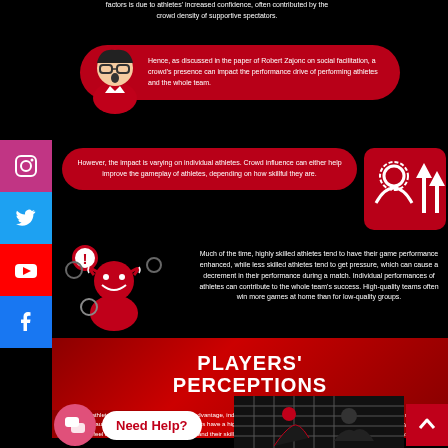factors is due to athletes' increased confidence, often contributed by the crowd density of supportive spectators.
Hence, as discussed in the paper of Robert Zajonc on social facilitation, a crowd's presence can impact the performance drive of performing athletes and the whole team.
However, the impact is varying on individual athletes. Crowd influence can either help improve the gameplay of athletes, depending on how skillful they are.
Much of the time, highly skilled athletes tend to have their game performance enhanced, while less skilled athletes tend to get pressure, which can cause a decrement in their performance during a match. Individual performances of athletes can contribute to the whole team's success. High-quality teams often win more games at home than for low-quality groups.
PLAYERS' PERCEPTIONS
Many athletes believe there is a home-field advantage, indicating that they feel the home court or field familiarity and the support from the audience during matches. These factors have a highly positive impact on the performances of athletes. Some players also feel more confident about themselves and their skills when they play their game at home than when they are away.
[Figure (infographic): Chat widget with pink circle icon and white speech bubble saying 'Need Help?']
[Figure (illustration): Athletes playing sport at bottom of page, back-to-top red arrow button]